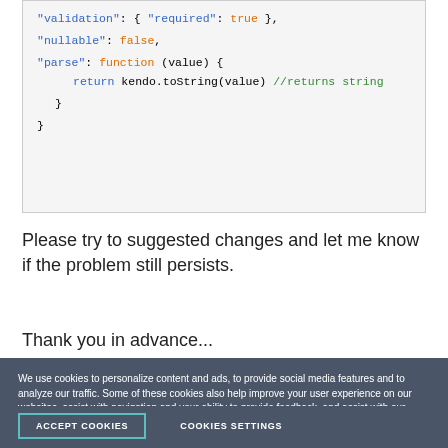[Figure (screenshot): Code block showing JSON-like configuration with validation, nullable, and parse function fields]
Please try to suggested changes and let me know if the problem still persists.
Thank you in advance...
We use cookies to personalize content and ads, to provide social media features and to analyze our traffic. Some of these cookies also help improve your user experience on our websites, assist with navigation and your ability to provide feedback, and assist with our promotional and marketing efforts. Please read our Cookie Policy for a more detailed description and click on the settings button to customize how the site uses cookies for you.
ACCEPT COOKIES
COOKIES SETTINGS